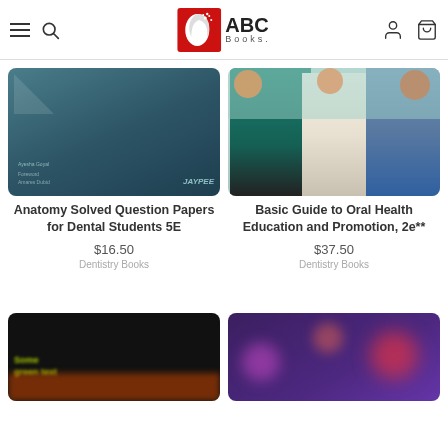ABC Books
[Figure (photo): Book cover: Anatomy Solved Question Papers for Dental Students 5E, teal/dark colored cover with triangle graphic, author Ayesha Goyal, foreword by Amares Dubti, publisher Jaypee]
Anatomy Solved Question Papers for Dental Students 5E
$16.50
Dentistry Books
[Figure (photo): Book cover photo showing dental professionals: a person in teal scrubs, a woman in white jacket, and a man in blue shirt examining something together]
Basic Guide to Oral Health Education and Promotion, 2e**
$37.50
Dentistry Books
[Figure (photo): Blurry dark book cover with green/yellow text and orange accent at bottom]
[Figure (photo): Blurry purple book cover with pink/red blob shapes]